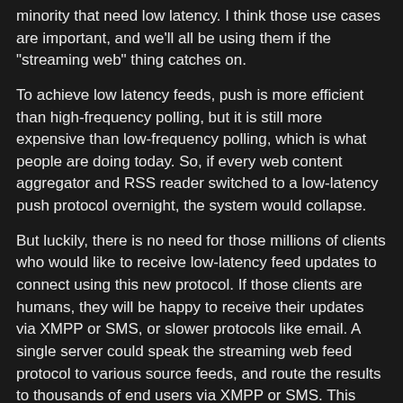minority that need low latency. I think those use cases are important, and we'll all be using them if the "streaming web" thing catches on.
To achieve low latency feeds, push is more efficient than high-frequency polling, but it is still more expensive than low-frequency polling, which is what people are doing today. So, if every web content aggregator and RSS reader switched to a low-latency push protocol overnight, the system would collapse.
But luckily, there is no need for those millions of clients who would like to receive low-latency feed updates to connect using this new protocol. If those clients are humans, they will be happy to receive their updates via XMPP or SMS, or slower protocols like email. A single server could speak the streaming web feed protocol to various source feeds, and route the results to thousands of end users via XMPP or SMS. This approach means that each source feed is serving a modest number of downstream servers.
I'd describe it as a 'wholesale' architecture. A food producer